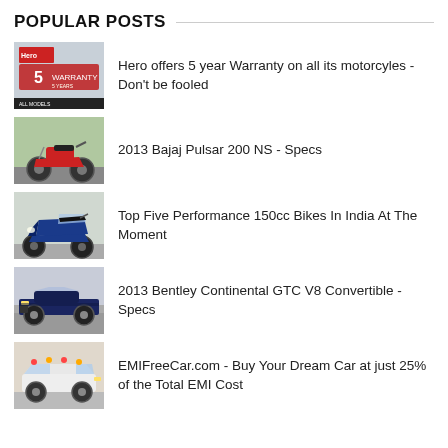POPULAR POSTS
Hero offers 5 year Warranty on all its motorcyles - Don't be fooled
2013 Bajaj Pulsar 200 NS - Specs
Top Five Performance 150cc Bikes In India At The Moment
2013 Bentley Continental GTC V8 Convertible - Specs
EMIFreeCar.com - Buy Your Dream Car at just 25% of the Total EMI Cost